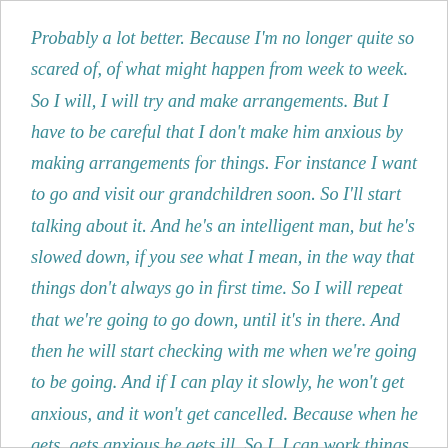Probably a lot better. Because I'm no longer quite so scared of, of what might happen from week to week. So I will, I will try and make arrangements. But I have to be careful that I don't make him anxious by making arrangements for things. For instance I want to go and visit our grandchildren soon. So I'll start talking about it. And he's an intelligent man, but he's slowed down, if you see what I mean, in the way that things don't always go in first time. So I will repeat that we're going to go down, until it's in there. And then he will start checking with me when we're going to be going. And if I can play it slowly, he won't get anxious, and it won't get cancelled. Because when he gets, gets anxious he gets ill. So I, I can work things out, and I can go up to about six